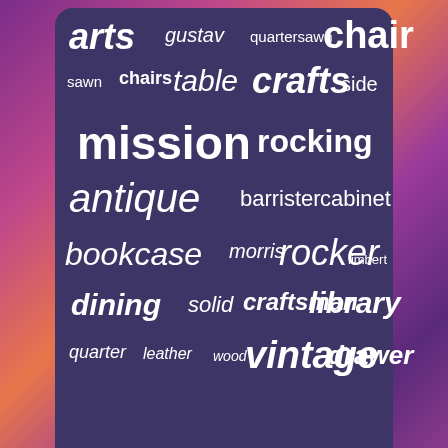[Figure (infographic): Word cloud with furniture/antique related terms on a dark purple background. Words include: arts, gustav, quartersawn, chair, sawn, chairs, table, crafts, side, mission, rocking, antique, barrister, cabinet, bookcase, morris, rocker, limbert, dining, solid, craftsman, library, quarter, leather, wood, vintage, drawer]
Homepage
Sitemap
Contact Form
Privacy Policies
Terms of Use